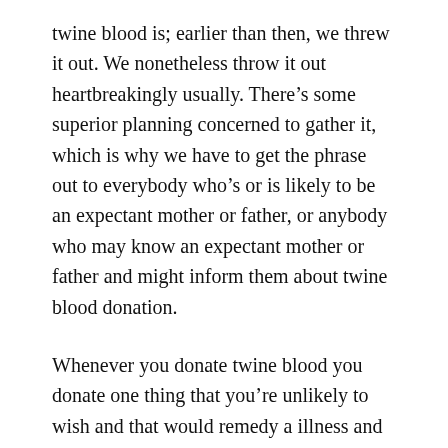twine blood is; earlier than then, we threw it out. We nonetheless throw it out heartbreakingly usually. There’s some superior planning concerned to gather it, which is why we have to get the phrase out to everybody who’s or is likely to be an expectant mother or father, or anybody who may know an expectant mother or father and might inform them about twine blood donation.
Whenever you donate twine blood you donate one thing that you’re unlikely to wish and that would remedy a illness and save a life. That’s fairly superb.
Commenting has been closed for this put up.